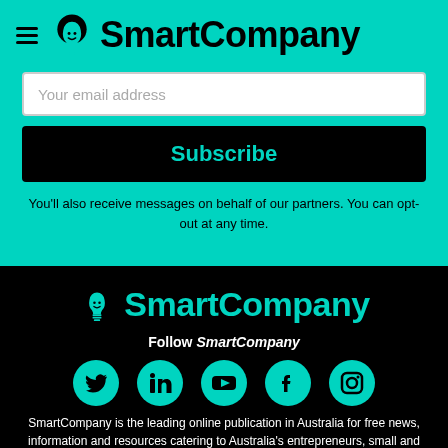[Figure (logo): SmartCompany logo with lightbulb icon, teal on dark background, in top navigation bar]
Your email address
Subscribe
You'll also receive messages on behalf of our partners. You can opt-out at any time.
[Figure (logo): SmartCompany logo with lightbulb icon in teal on black background in footer]
Follow SmartCompany
[Figure (infographic): Five social media icons (Twitter, LinkedIn, YouTube, Facebook, Instagram) in teal circles on black background]
SmartCompany is the leading online publication in Australia for free news, information and resources catering to Australia's entrepreneurs, small and medium business owners and